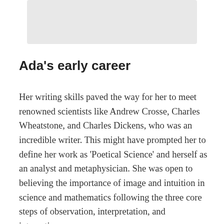[Figure (other): A light grey rectangular placeholder image at the top of the page]
Ada's early career
Her writing skills paved the way for her to meet renowned scientists like Andrew Crosse, Charles Wheatstone, and Charles Dickens, who was an incredible writer. This might have prompted her to define her work as 'Poetical Science' and herself as an analyst and metaphysician. She was open to believing the importance of image and intuition in science and mathematics following the three core steps of observation, interpretation, and integration.